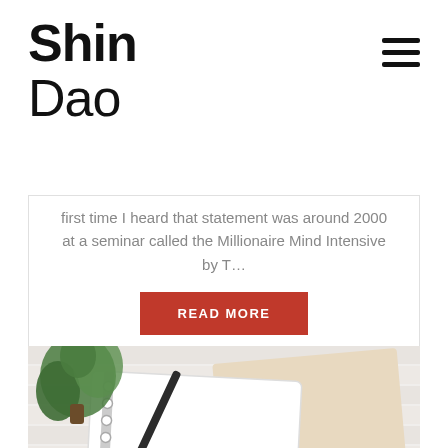Shin Dao
first time I heard that statement was around 2000 at a seminar called the Millionaire Mind Intensive by T…
READ MORE
Neil Thrussell  16 May 2022  0
[Figure (photo): Photo of a notebook with spiral binding, a black pencil, and a green plant on a white wooden surface]